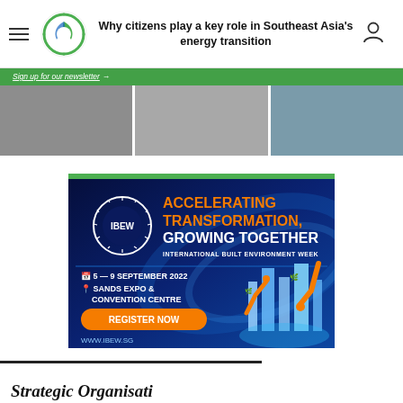Why citizens play a key role in Southeast Asia's energy transition
Sign up for our newsletter →
[Figure (photo): Hero banner with three column photo strip showing people in various settings]
[Figure (infographic): IBEW advertisement: ACCELERATING TRANSFORMATION, GROWING TOGETHER — International Built Environment Week, 5–9 September 2022, Sands Expo & Convention Centre, Register Now, www.ibew.sg]
Strategic Organisation